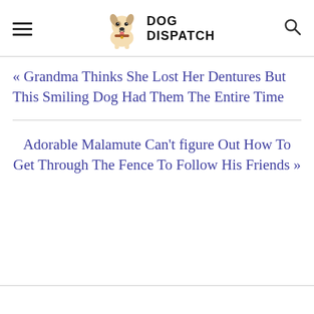DOG DISPATCH
« Grandma Thinks She Lost Her Dentures But This Smiling Dog Had Them The Entire Time
Adorable Malamute Can't figure Out How To Get Through The Fence To Follow His Friends »